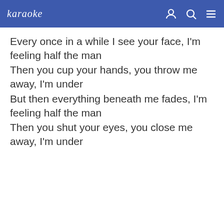karaoke
Every once in a while I see your face, I'm feeling half the man
Then you cup your hands, you throw me away, I'm under
But then everything beneath me fades, I'm feeling half the man
Then you shut your eyes, you close me away, I'm under